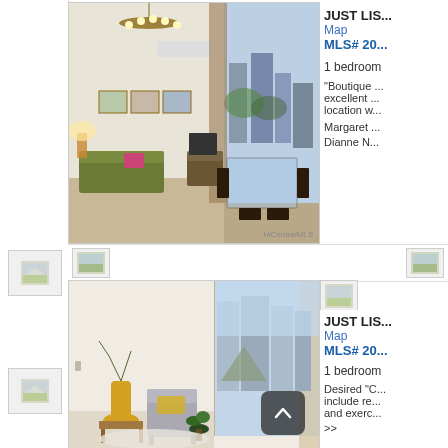[Figure (photo): Small thumbnail image placeholder in left sidebar, top listing]
[Figure (photo): Interior photo of apartment living room and dining area with city view, chandelier, green sofa, glass dining table]
HiCentralMLS
JUST LIS...
Map
MLS# 20...
1 bedroom
"Boutique ... excellent ... location w...
Margaret ...
Dianne N...
[Figure (photo): Small thumbnail image placeholder in left sidebar, bottom listing]
[Figure (photo): Divider row thumbnail left]
[Figure (photo): Divider row thumbnail right]
[Figure (photo): Small thumbnail in right panel second listing]
[Figure (photo): Interior photo of bright apartment living room with mountain and city high-rise view, grey chair, yellow vase]
JUST LIS...
Map
MLS# 20...
1 bedroom
Desired "C... include re... and exerc...
>>